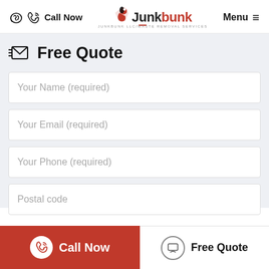Call Now | JunkBunk LLC/WASTE REMOVAL SERVICES | Menu
Free Quote
Your Name (required)
Your Email (required)
Your Phone (required)
Postal code
Call Now | Free Quote